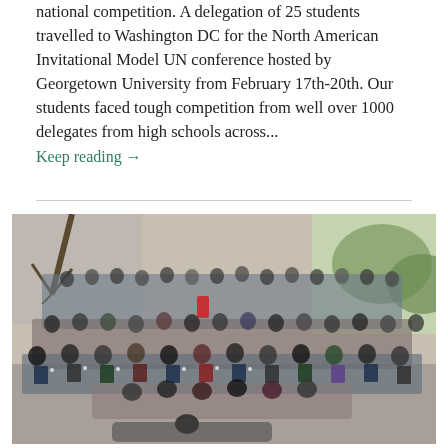national competition. A delegation of 25 students travelled to Washington DC for the North American Invitational Model UN conference hosted by Georgetown University from February 17th-20th. Our students faced tough competition from well over 1000 delegates from high schools across...
Keep reading →
[Figure (photo): Large group photo of students and delegates dressed in formal business attire, posing outdoors in multiple rows on steps or a plaza. Some students in the front are lying or sitting on the ground. The group appears to be from the North American Invitational Model UN conference.]